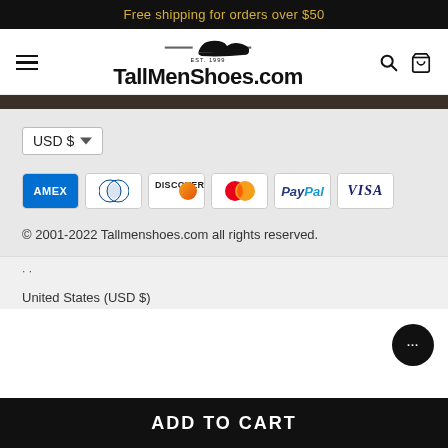Free shipping for orders over $50
[Figure (logo): TallMenShoes.com logo with shoe icon, EST. 1999 text, and TallMenShoes.com wordmark]
[Figure (infographic): Payment method icons: American Express, Diners Club, Discover, Mastercard, PayPal, Visa]
USD $
© 2001-2022 Tallmenshoes.com all rights reserved.
United States (USD $)
ADD TO CART